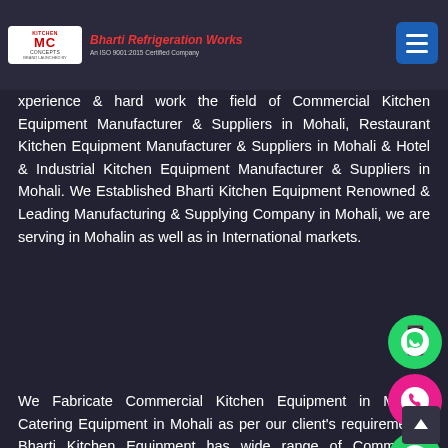Kitchen Concepts | Bharti Refrigeration Works — An ISO 9001:2015 Certified Company
xperience & hard work the field of Commercial Kitchen Equipment Manufacturer & Suppliers in Mohali, Restaurant Kitchen Equipment Manufacturer & Suppliers in Mohali & Hotel & Industrial Kitchen Equipment Manufacturer & Suppliers in Mohali. We Established Bharti Kitchen Equipment Renowned & Leading Manufacturing & Supplying Company in Mohali, we are serving in Mohalin as well as in International markets.
We Fabricate Commercial Kitchen Equipment in Mohali, Catering Equipment in Mohali as per our client's requirements. Bharti Kitchen Equipment has wide range of Commercial Kitchen Equipment products such as Commercial Refrigeration Equipment in Mohali, Commercial Chapati Making Machine in Mohali, Pantry